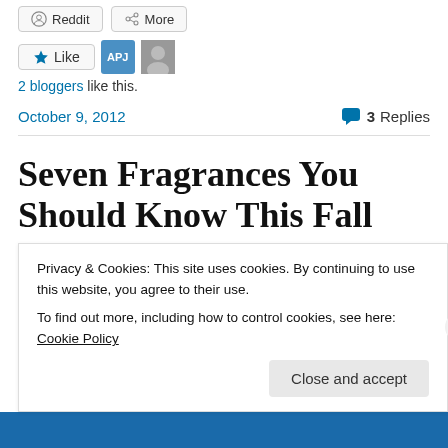Reddit  More
Like  APJ [avatar] [photo avatar]
2 bloggers like this.
October 9, 2012   💬 3 Replies
Seven Fragrances You Should Know This Fall
The other day as I was exiting the train station here in
Privacy & Cookies: This site uses cookies. By continuing to use this website, you agree to their use.
To find out more, including how to control cookies, see here: Cookie Policy
Close and accept